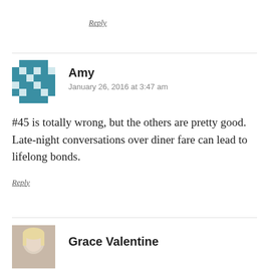Reply
[Figure (illustration): Teal/blue geometric mosaic pattern avatar for user Amy]
Amy
January 26, 2016 at 3:47 am
#45 is totally wrong, but the others are pretty good. Late-night conversations over diner fare can lead to lifelong bonds.
Reply
[Figure (photo): Photo avatar thumbnail of Grace Valentine, a blonde woman]
Grace Valentine